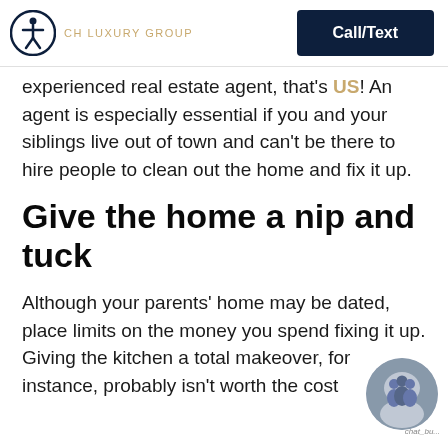CH LUXURY GROUP | Call/Text
experienced real estate agent, that's US! An agent is especially essential if you and your siblings live out of town and can't be there to hire people to clean out the home and fix it up.
Give the home a nip and tuck
Although your parents' home may be dated, place limits on the money you spend fixing it up. Giving the kitchen a total makeover, for instance, probably isn't worth the cost